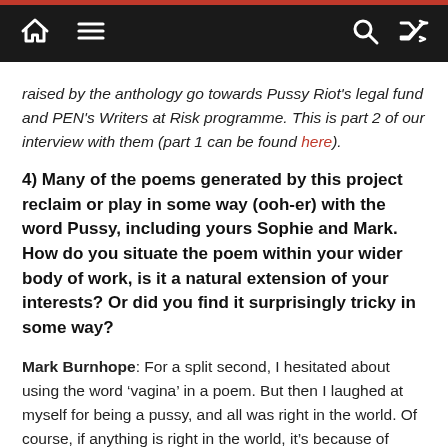Navigation bar with home, menu, search, and shuffle icons
raised by the anthology go towards Pussy Riot's legal fund and PEN's Writers at Risk programme. This is part 2 of our interview with them (part 1 can be found here).
4) Many of the poems generated by this project reclaim or play in some way (ooh-er) with the word Pussy, including yours Sophie and Mark. How do you situate the poem within your wider body of work, is it a natural extension of your interests? Or did you find it surprisingly tricky in some way?
Mark Burnhope: For a split second, I hesitated about using the word ‘vagina’ in a poem. But then I laughed at myself for being a pussy, and all was right in the world. Of course, if anything is right in the world, it’s because of vaginas. They are why we exist. The vagina is a symbol not just of womanhood, but of all life